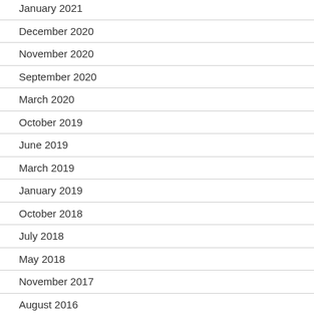January 2021
December 2020
November 2020
September 2020
March 2020
October 2019
June 2019
March 2019
January 2019
October 2018
July 2018
May 2018
November 2017
August 2016